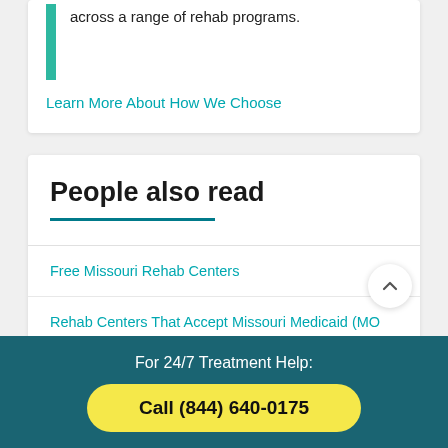across a range of rehab programs.
Learn More About How We Choose
People also read
Free Missouri Rehab Centers
Rehab Centers That Accept Missouri Medicaid (MO HealthNet)
For 24/7 Treatment Help:
Call (844) 640-0175